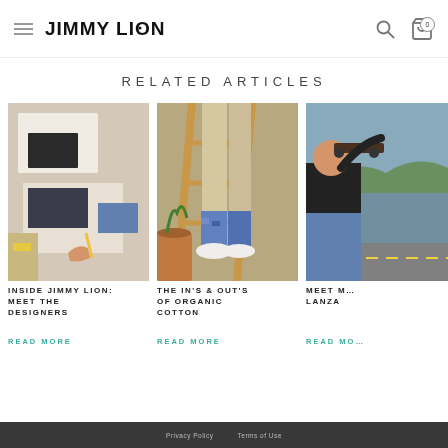JIMMY LION — navigation header with hamburger menu, logo, search and cart icons
RELATED ARTICLES
[Figure (photo): Photo of a person's hand drawing sock designs with a pencil on paper, with Jimmy Lion socks visible]
INSIDE JIMMY LION: MEET THE DESIGNERS
READ MORE
[Figure (photo): Photo of a person standing on a wooden ladder wearing blue patterned socks and beige trousers]
THE IN'S & OUT'S OF ORGANIC COTTON
READ MORE
[Figure (photo): Partially visible photo of a person holding a skateboard on a road with green hills in background]
MEET M… LANZA
READ MO…
Privacy Policy   Terms of Use